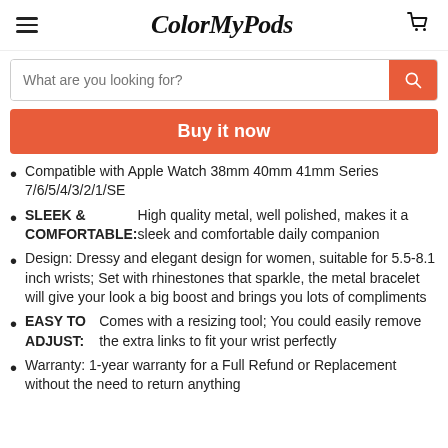ColorMyPods
What are you looking for?
Buy it now
Compatible with Apple Watch 38mm 40mm 41mm Series 7/6/5/4/3/2/1/SE
SLEEK & COMFORTABLE: High quality metal, well polished, makes it a sleek and comfortable daily companion
Design: Dressy and elegant design for women, suitable for 5.5-8.1 inch wrists; Set with rhinestones that sparkle, the metal bracelet will give your look a big boost and brings you lots of compliments
EASY TO ADJUST: Comes with a resizing tool; You could easily remove the extra links to fit your wrist perfectly
Warranty: 1-year warranty for a Full Refund or Replacement without the need to return anything